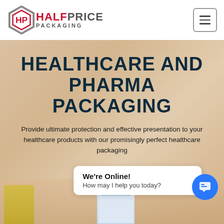[Figure (logo): Half Price Packaging logo with red and grey hexagonal icon and HALFPRICE PACKAGING text]
HEALTHCARE AND PHARMA PACKAGING
Provide ultimate protection and effective presentation to your healthcare products with our promisingly perfect healthcare packaging
We're Online!
How may I help you today?